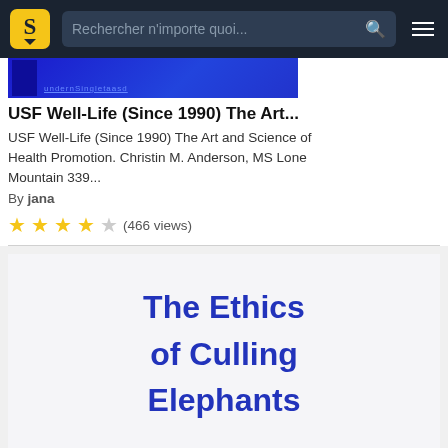Rechercher n'importe quoi...
[Figure (screenshot): Blue document preview thumbnail with dark blue background and decorative text]
USF Well-Life (Since 1990) The Art...
USF Well-Life (Since 1990) The Art and Science of Health Promotion. Christin M. Anderson, MS Lone Mountain 339...
By jana
(466 views)
[Figure (screenshot): Second document card showing title 'The Ethics of Culling Elephants' in bold dark blue text on light background]
The Ethics of Culling Elephants